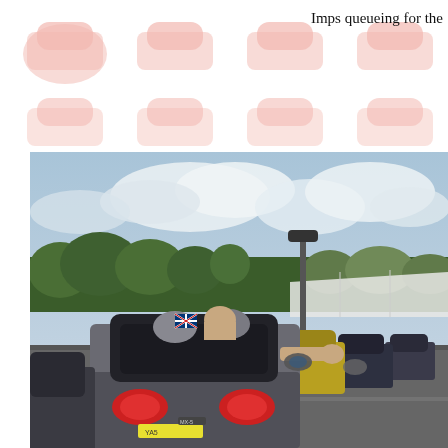[Figure (illustration): Repeating decorative border of car/Imp silhouettes in salmon/pink color arranged in two rows across the top of the page]
Imps queueing for the
[Figure (photo): A long queue of convertible sports cars (including Mazda MX-5s and other roadsters) waiting in a car park/lot. The nearest car is a silver Mazda MX-5 with a person in the passenger seat reaching out. Behind it is a yellow convertible and several dark-colored cars stretching into the distance. Trees, a marquee/tent, and a sky with clouds are visible in the background. A Union Jack flag is visible on one of the cars.]